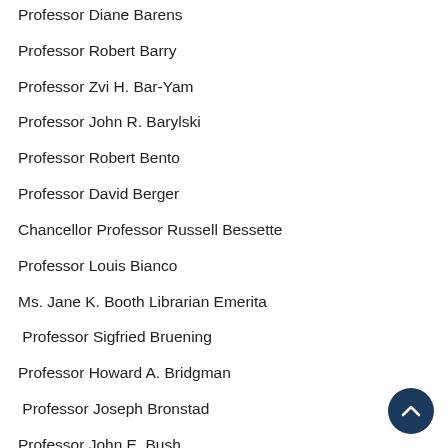Professor Diane Barens
Professor Robert Barry
Professor Zvi H. Bar-Yam
Professor John R. Barylski
Professor Robert Bento
Professor David Berger
Chancellor Professor Russell Bessette
Professor Louis Bianco
Ms. Jane K. Booth Librarian Emerita
Professor Sigfried Bruening
Professor Howard A. Bridgman
Professor Joseph Bronstad
Professor John E. Bush